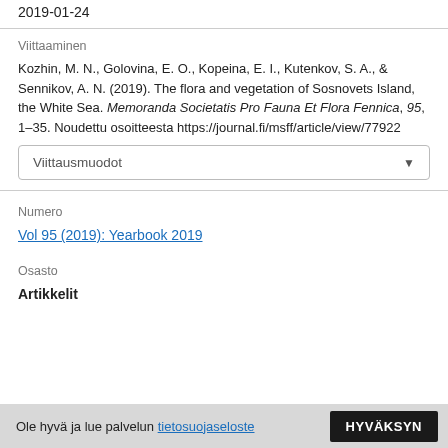2019-01-24
Viittaaminen
Kozhin, M. N., Golovina, E. O., Kopeina, E. I., Kutenkov, S. A., & Sennikov, A. N. (2019). The flora and vegetation of Sosnovets Island, the White Sea. Memoranda Societatis Pro Fauna Et Flora Fennica, 95, 1–35. Noudettu osoitteesta https://journal.fi/msff/article/view/77922
Viittausmuodot
Numero
Vol 95 (2019): Yearbook 2019
Osasto
Artikkelit
Ole hyvä ja lue palvelun tietosuojaseloste